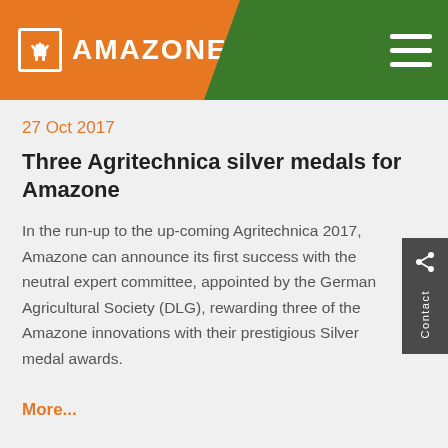AMAZONE
27 Oct 2017
Three Agritechnica silver medals for Amazone
In the run-up to the up-coming Agritechnica 2017, Amazone can announce its first success with the neutral expert committee, appointed by the German Agricultural Society (DLG), rewarding three of the Amazone innovations with their prestigious Silver medal awards.
More...